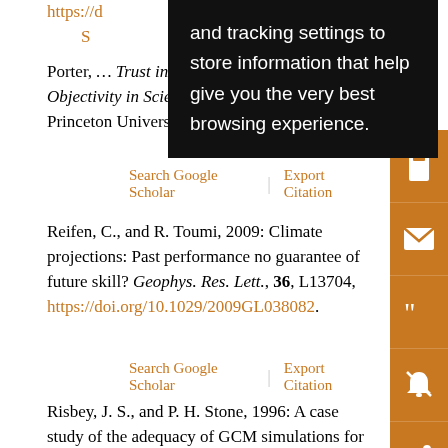Porter, … Trust in Numbers: The Pursuit of Objectivity in Science and Public Life. Princeton University Press, 344 pp.
Search Google Scholar | Export Citation
Reifen, C., and R. Toumi, 2009: Climate projections: Past performance no guarantee of future skill? Geophys. Res. Lett., 36, L13704, https://doi.org/10.1029/2009GL038082.
Search Google Scholar | Export Citation
Risbey, J. S., and P. H. Stone, 1996: A case study of the adequacy of GCM simulations for input to